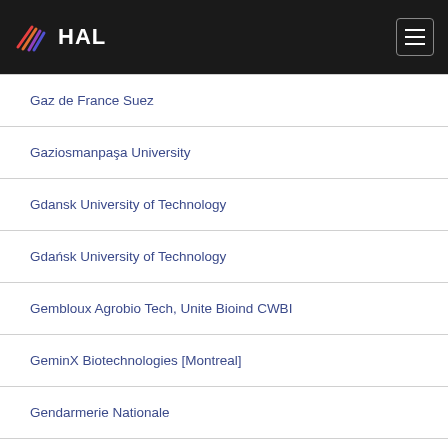HAL
Gaz de France Suez
Gaziosmanpaşa University
Gdansk University of Technology
Gdańsk University of Technology
Gembloux Agrobio Tech, Unite Bioind CWBI
GeminX Biotechnologies [Montreal]
Gendarmerie Nationale
Gene Center and Center for Innovation Medical Models (CiMM)
Gene Center and Center for Innovative Medical Models
Gene Center and Department of Veterinary Sciences
Gene Center and ...